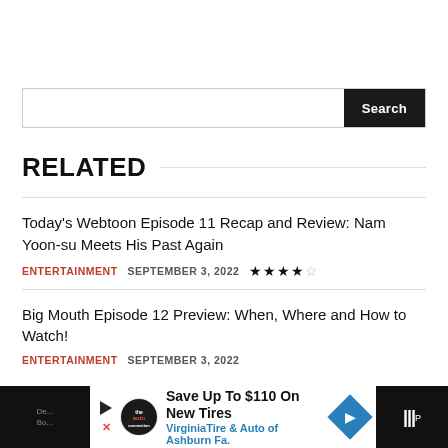[Figure (screenshot): Search bar with text input and dark Search button]
RELATED
Today's Webtoon Episode 11 Recap and Review: Nam Yoon-su Meets His Past Again
ENTERTAINMENT   SEPTEMBER 3, 2022   ★★★★☆
Big Mouth Episode 12 Preview: When, Where and How to Watch!
ENTERTAINMENT   SEPTEMBER 3, 2022
[Figure (screenshot): Advertisement banner: Save Up To $110 On New Tires — VirginiaTire & Auto of Ashburn Fa.]